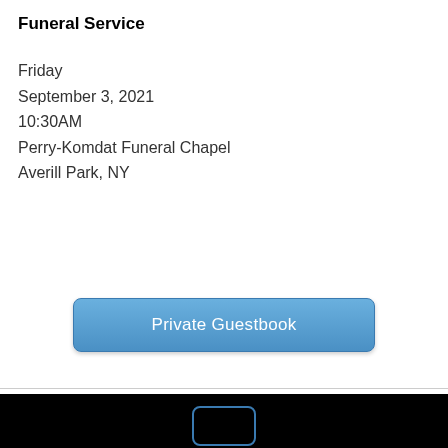Funeral Service
Friday
September 3, 2021
10:30AM
Perry-Komdat Funeral Chapel
Averill Park, NY
[Figure (other): Private Guestbook button — a blue rounded-rectangle button with white text reading 'Private Guestbook']
[Figure (other): Dark/black video player area with a faintly glowing rounded rectangle icon at the bottom center]